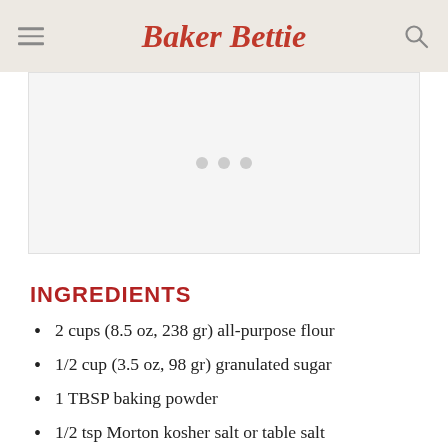Baker Bettie
[Figure (other): Advertisement placeholder area with three grey dots]
INGREDIENTS
2 cups (8.5 oz, 238 gr) all-purpose flour
1/2 cup (3.5 oz, 98 gr) granulated sugar
1 TBSP baking powder
1/2 tsp Morton kosher salt or table salt (use 1 tsp if using Diamond Kosher)